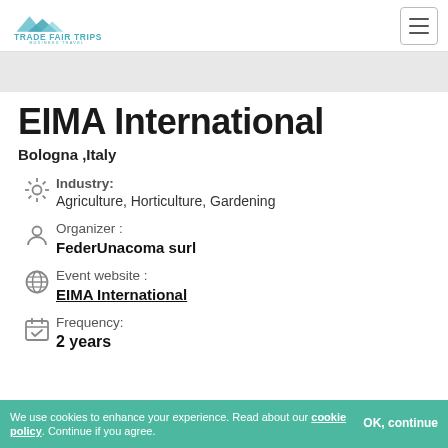Trade Fair Trips - Business Travel
EIMA International
Bologna ,Italy
Industry: Agriculture, Horticulture, Gardening
Organizer : FederUnacoma surl
Event website : EIMA International
Frequency: 2 years
We use cookies to enhance your experience. Read about our cookie policy. Continue if you agree. OK, continue